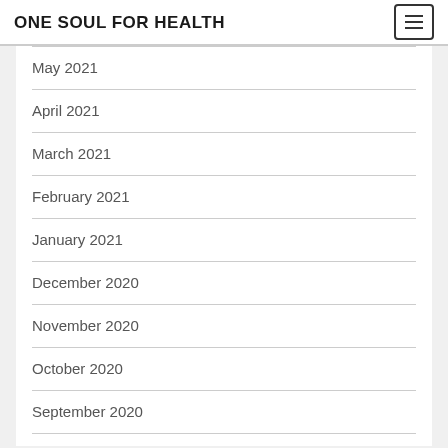ONE SOUL FOR HEALTH
May 2021
April 2021
March 2021
February 2021
January 2021
December 2020
November 2020
October 2020
September 2020
August 2020